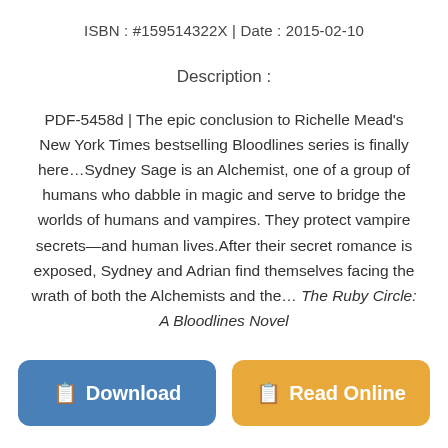ISBN : #159514322X | Date : 2015-02-10
Description :
PDF-5458d | The epic conclusion to Richelle Mead's New York Times bestselling Bloodlines series is finally here…Sydney Sage is an Alchemist, one of a group of humans who dabble in magic and serve to bridge the worlds of humans and vampires. They protect vampire secrets—and human lives.After their secret romance is exposed, Sydney and Adrian find themselves facing the wrath of both the Alchemists and the… The Ruby Circle: A Bloodlines Novel
Download
Read Online